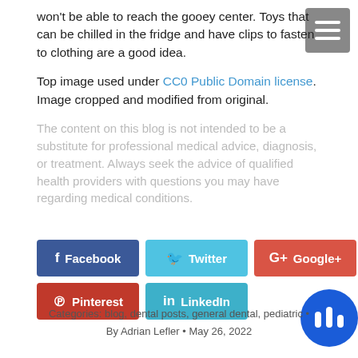won't be able to reach the gooey center. Toys that can be chilled in the fridge and have clips to fasten to clothing are a good idea.
Top image used under CC0 Public Domain license. Image cropped and modified from original.
The content on this blog is not intended to be a substitute for professional medical advice, diagnosis, or treatment. Always seek the advice of qualified health providers with questions you may have regarding medical conditions.
[Figure (infographic): Social share buttons: Facebook (dark blue), Twitter (light blue), Google+ (red), Pinterest (dark red), LinkedIn (light blue)]
Categories: blog, dental posts, general dental, pediatric • By Adrian Lefler • May 26, 2022